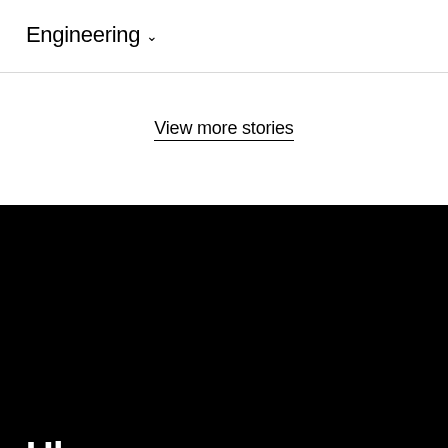Engineering ˅
View more stories
Uber
Visit Help Center
Do Not Sell My Info (California)
Products